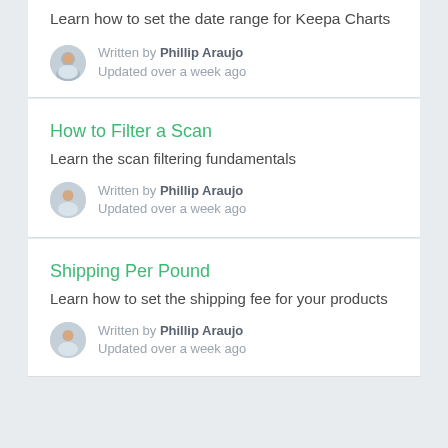Learn how to set the date range for Keepa Charts
Written by Phillip Araujo
Updated over a week ago
How to Filter a Scan
Learn the scan filtering fundamentals
Written by Phillip Araujo
Updated over a week ago
Shipping Per Pound
Learn how to set the shipping fee for your products
Written by Phillip Araujo
Updated over a week ago